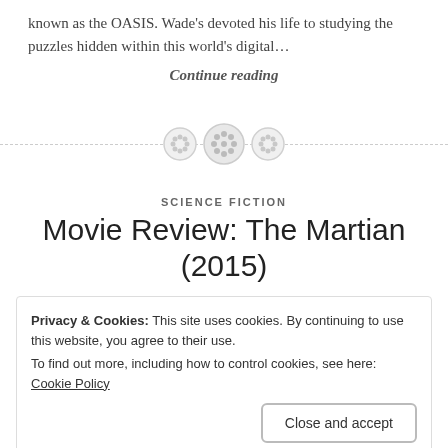known as the OASIS. Wade's devoted his life to studying the puzzles hidden within this world's digital…
Continue reading
[Figure (illustration): Section divider with dashed horizontal line and three button/circle icons in the center]
SCIENCE FICTION
Movie Review: The Martian (2015)
Privacy & Cookies: This site uses cookies. By continuing to use this website, you agree to their use. To find out more, including how to control cookies, see here: Cookie Policy Close and accept